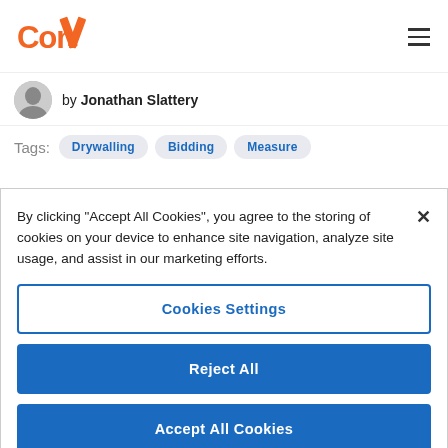[Figure (logo): ConX logo with orange text 'Con' and orange X shape icon]
by Jonathan Slattery
Tags: Drywalling Bidding Measure
By clicking "Accept All Cookies", you agree to the storing of cookies on your device to enhance site navigation, analyze site usage, and assist in our marketing efforts.
Cookies Settings
Reject All
Accept All Cookies